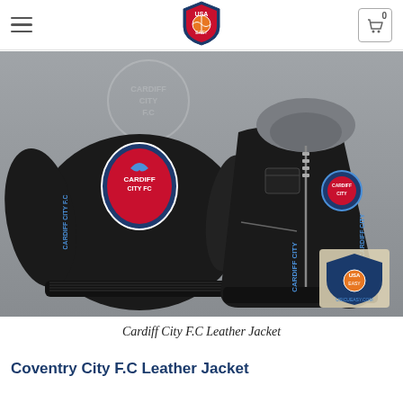Navigation bar with hamburger menu, USA EASY logo, and cart icon showing 0
[Figure (photo): Black Cardiff City F.C leather jacket with grey hood, shown front and back. The jacket features the Cardiff City F.C crest/badge on the chest and sleeves, with 'CARDIFF CITY FC' text. A USA EASY watermark logo appears in the lower right corner of the image.]
Cardiff City F.C Leather Jacket
Coventry City F.C Leather Jacket